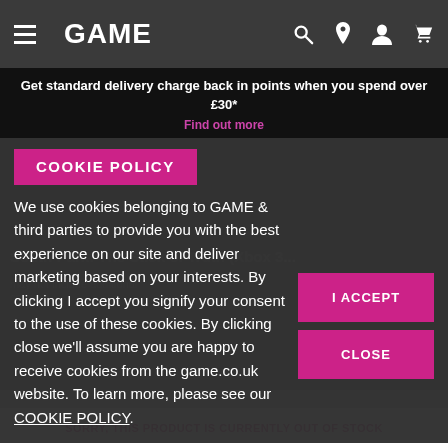GAME navigation bar with hamburger menu, GAME logo, search, location, account, and cart icons
Get standard delivery charge back in points when you spend over £30*
Find out more
COOKIE POLICY
We use cookies belonging to GAME & third parties to provide you with the best experience on our site and deliver marketing based on your interests. By clicking I accept you signify your consent to the use of these cookies. By clicking close we'll assume you are happy to receive cookies from the game.co.uk website. To learn more, please see our COOKIE POLICY.
I ACCEPT
CLOSE
SORRY, THIS PRODUCT IS CURRENTLY OUT OF STOCK